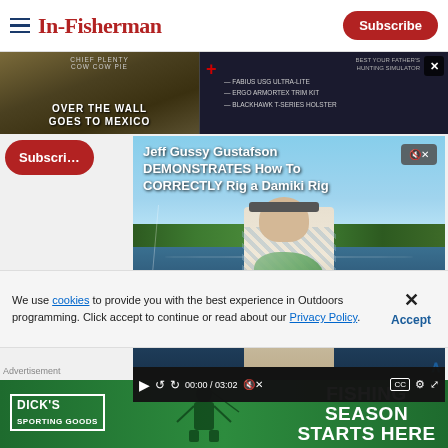In-Fisherman — Subscribe
[Figure (screenshot): Banner strip showing two promotional images: left side shows 'OVER THE WALL GOES TO MEXICO' hunting/outdoor content, right side shows firearms accessories listing with plus icon and model numbers]
[Figure (screenshot): Video player showing Jeff Gussy Gustafson DEMONSTRATES How To CORRECTLY Rig a Damiki Rig — fishing video with man holding large bass on lake, controls showing 00:00 / 03:02]
We use cookies to provide you with the best experience in Outdoors programming. Click accept to continue or read about our Privacy Policy.
Advertisement
[Figure (screenshot): Dick's Sporting Goods advertisement banner — green background with DICKS SPORTING GOODS logo on left, silhouette of angler, right side text reads FISHING SEASON STARTS HERE]